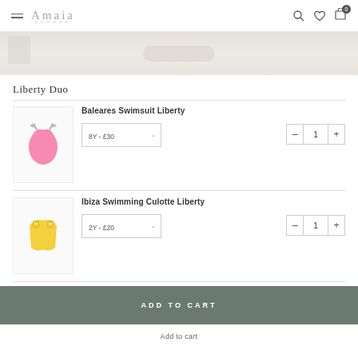Amaia London
[Figure (photo): Partial hero banner image showing a light beige/cream background with soft shapes]
Liberty Duo
Baleares Swimsuit Liberty — 8Y - £30, quantity 1
Ibiza Swimming Culotte Liberty — 2Y - £20, quantity 1
ADD TO CART
Add to cart